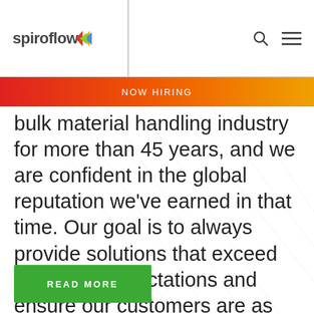spiroflow
NOW HIRING
bulk material handling industry for more than 45 years, and we are confident in the global reputation we’ve earned in that time. Our goal is to always provide solutions that exceed customer expectations and ensure our customers are as well informed as possible, which is why we don’t mind talking about other suppliers.
READ MORE